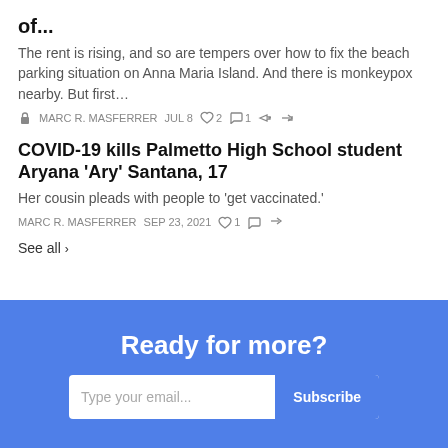of...
The rent is rising, and so are tempers over how to fix the beach parking situation on Anna Maria Island. And there is monkeypox nearby. But first…
🔒 MARC R. MASFERRER   JUL 8   ♡ 2   💬 1   ↗
COVID-19 kills Palmetto High School student Aryana 'Ary' Santana, 17
Her cousin pleads with people to 'get vaccinated.'
MARC R. MASFERRER   SEP 23, 2021   ♡ 1   💬   ↗
See all >
Ready for more?
Type your email...   Subscribe